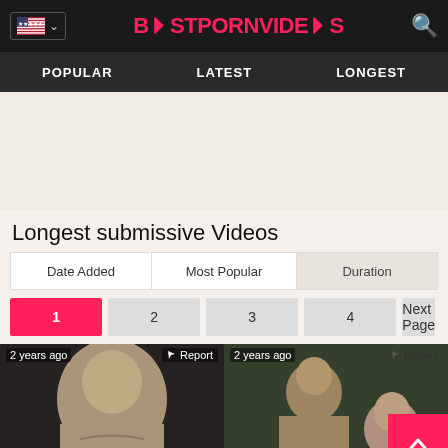BestPornVideos — POPULAR | LATEST | LONGEST
Longest submissive Videos
| Date Added | Most Popular | Duration |
| --- | --- | --- |
1  2  3  4  Next Page
[Figure (photo): Two video thumbnails: left shows a blonde woman, right shows a man and woman. Both labeled '2 years ago' with Report buttons.]